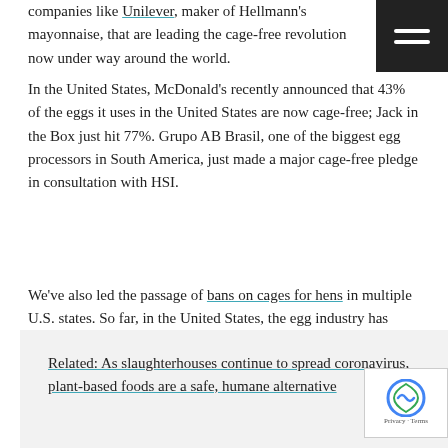companies like Unilever, maker of Hellmann's mayonnaise, that are leading the cage-free revolution now under way around the world.
In the United States, McDonald's recently announced that 43% of the eggs it uses in the United States are now cage-free; Jack in the Box just hit 77%. Grupo AB Brasil, one of the biggest egg processors in South America, just made a major cage-free pledge in consultation with HSI.
We've also led the passage of bans on cages for hens in multiple U.S. states. So far, in the United States, the egg industry has transitioned from 3% cage-free eggs just 13 years ago to nearly 30% today.
Related: As slaughterhouses continue to spread coronavirus, plant-based foods are a safe, humane alternative